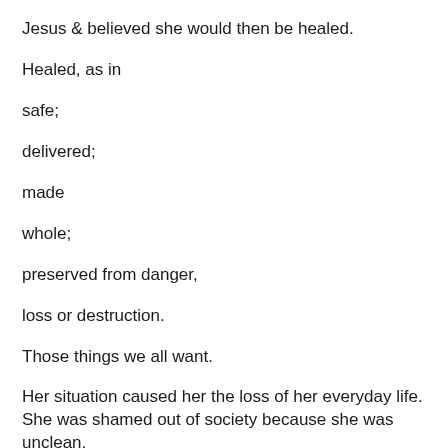Jesus & believed she would then be healed.
Healed, as in
safe;
delivered;
made
whole;
preserved from danger,
loss or destruction.
Those things we all want.
Her situation caused her the loss of her everyday life. She was shamed out of society because she was unclean.